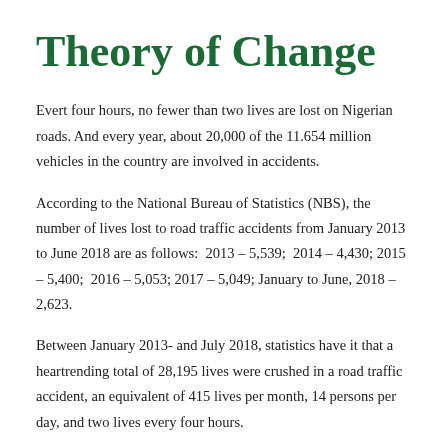Theory of Change
Evert four hours, no fewer than two lives are lost on Nigerian roads. And every year, about 20,000 of the 11.654 million vehicles in the country are involved in accidents.
According to the National Bureau of Statistics (NBS), the number of lives lost to road traffic accidents from January 2013 to June 2018 are as follows:  2013 – 5,539;  2014 – 4,430; 2015 – 5,400;  2016 – 5,053; 2017 – 5,049; January to June, 2018 – 2,623.
Between January 2013- and July 2018, statistics have it that a heartrending total of 28,195 lives were crushed in a road traffic accident, an equivalent of 415 lives per month, 14 persons per day, and two lives every four hours.